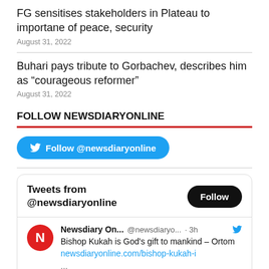FG sensitises stakeholders in Plateau to importane of peace, security
August 31, 2022
Buhari pays tribute to Gorbachev, describes him as “courageous reformer”
August 31, 2022
FOLLOW NEWSDIARYONLINE
[Figure (other): Twitter Follow @newsdiaryonline button (blue rounded pill)]
[Figure (screenshot): Tweets from @newsdiaryonline widget showing a Newsdiary Online tweet: Bishop Kukah is God's gift to mankind – Ortom newsdiaryonline.com/bishop-kukah-i]